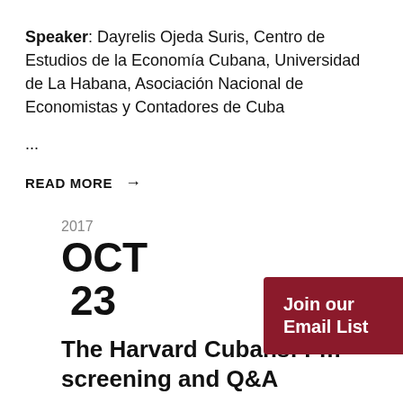Speaker: Dayrelis Ojeda Suris, Centro de Estudios de la Economía Cubana, Universidad de La Habana, Asociación Nacional de Economistas y Contadores de Cuba
...
READ MORE →
2017 OCT 23
The Harvard Cubans: F… screening and Q&A
Join our Email List